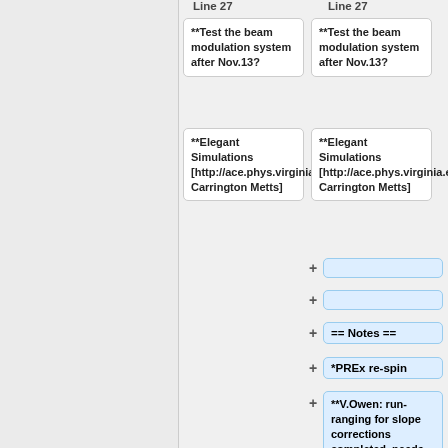Line 27 (left column header)
Line 27 (right column header)
**Test the beam modulation system after Nov.13?
**Test the beam modulation system after Nov.13?
**Elegant Simulations [http://ace.phys.virginia.edu/HAPPEX/3923 Carrington Metts]
**Elegant Simulations [http://ace.phys.virginia.edu/HAPPEX/3923 Carrington Metts]
+ (empty add row)
+ (empty add row)
+ == Notes ==
+ *PREx re-spin
+ **V.Owen:  run-ranging for slope corrections completed. needs to be integrated into a re-spin friendly format.